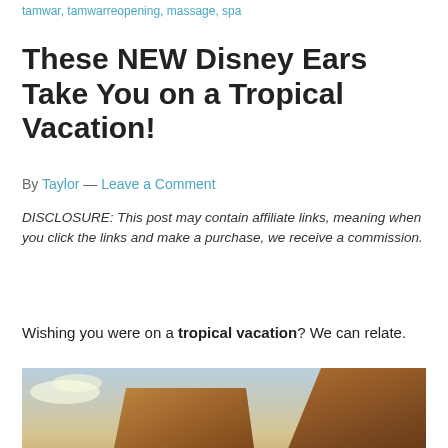tamwar, tamwarreopening, massage, spa
These NEW Disney Ears Take You on a Tropical Vacation!
By Taylor — Leave a Comment
DISCLOSURE: This post may contain affiliate links, meaning when you click the links and make a purchase, we receive a commission.
Wishing you were on a tropical vacation? We can relate.
[Figure (photo): Tropical resort with thatched-roof structures and colorful sunset sky]